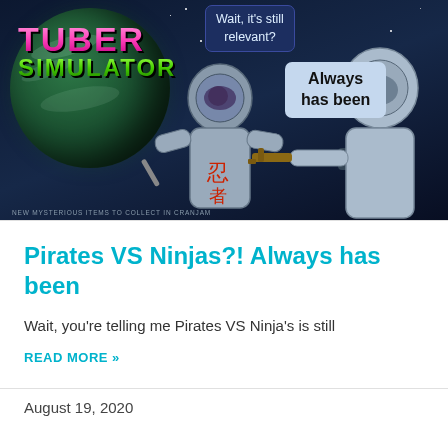[Figure (illustration): Tuber Simulator game promotional image showing space scene with astronaut ninja and pirate astronaut figures, planet Earth, 'TUBER SIMULATOR' logo in pink/green, speech bubbles saying 'Wait, it's still relevant?' and 'Always has been', small caption 'NEW MYSTERIOUS ITEMS TO COLLECT IN CRANJAM']
Pirates VS Ninjas?! Always has been
Wait, you're telling me Pirates VS Ninja's is still
READ MORE »
August 19, 2020